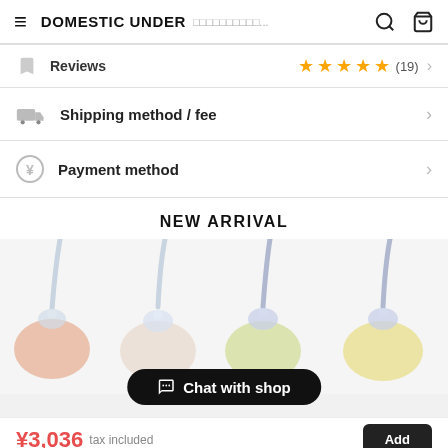DOMESTIC UNDER　□□□□□□□□□□...
Reviews ★★★★☆ (19)
Shipping method / fee
Payment method
NEW ARRIVAL
[Figure (photo): Four decorative lace bras in pink/white and yellow/lavender colorways displayed side by side]
Chat with shop
¥3,036 tax included